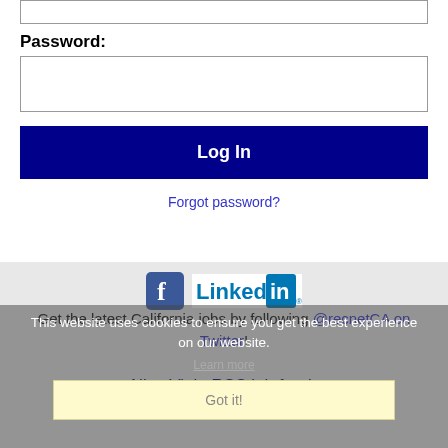Password:
Log In
Forgot password?
[Figure (logo): Facebook and LinkedIn social media icons/logos]
This website uses cookies to ensure you get the best experience on our website.
Get the latest California jobs by following @recnetCA on Twitter!
Aliso Viejo RSS job feeds
Learn more
Got it!